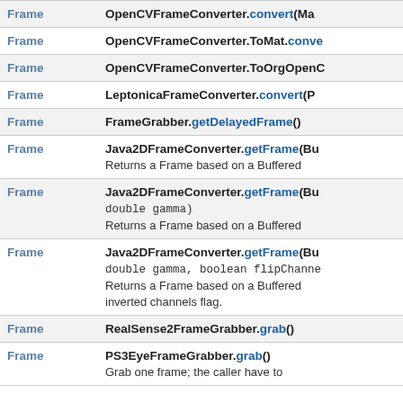| Return Type | Method |
| --- | --- |
| Frame | OpenCVFrameConverter.convert(Ma… |
| Frame | OpenCVFrameConverter.ToMat.conv… |
| Frame | OpenCVFrameConverter.ToOrgOpenC… |
| Frame | LeptonicaFrameConverter.convert(P… |
| Frame | FrameGrabber.getDelayedFrame() |
| Frame | Java2DFrameConverter.getFrame(Bu…
Returns a Frame based on a Buffered… |
| Frame | Java2DFrameConverter.getFrame(Bu…
double gamma)
Returns a Frame based on a Buffered… |
| Frame | Java2DFrameConverter.getFrame(Bu…
double gamma, boolean flipChanne…
Returns a Frame based on a Buffered… inverted channels flag. |
| Frame | RealSense2FrameGrabber.grab() |
| Frame | PS3EyeFrameGrabber.grab()
Grab one frame; the caller have to… |